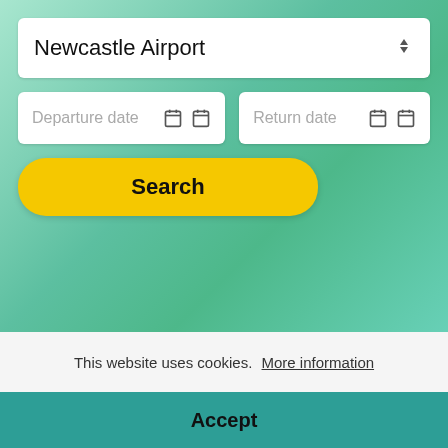[Figure (screenshot): Airport parking search widget with Newcastle Airport dropdown, Departure date input, Return date input, and yellow Search button on green gradient background]
[Figure (screenshot): Dark section with two icon buttons (list view and grid view) and three pill-shaped navigation buttons: Quality mark, Privacy, Cookies]
Payment methods
This website uses cookies. More information
Accept